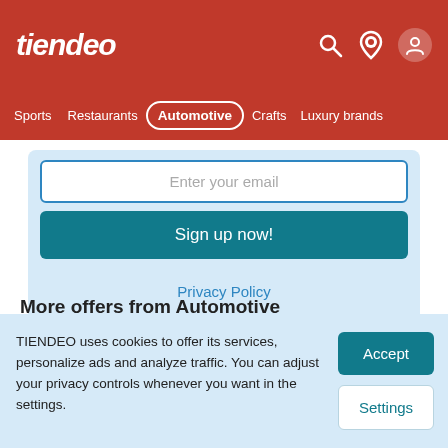tiendeo
Sports  Restaurants  Automotive  Crafts  Luxury brands
Enter your email
Sign up now!
Privacy Policy
More offers from Automotive
Popular brands
TIENDEO uses cookies to offer its services, personalize ads and analyze traffic. You can adjust your privacy controls whenever you want in the settings.
Accept
Settings